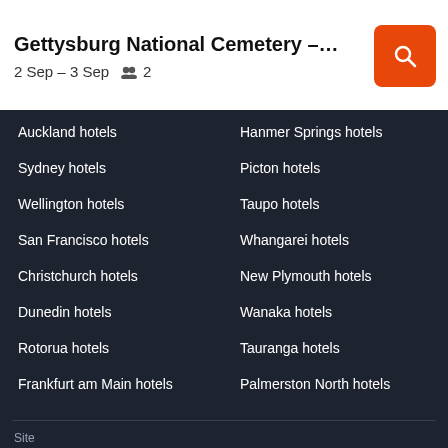Gettysburg National Cemetery - Gettysburg...
2 Sep – 3 Sep   👥 2
Auckland hotels
Hanmer Springs hotels
Sydney hotels
Picton hotels
Wellington hotels
Taupo hotels
San Francisco hotels
Whangarei hotels
Christchurch hotels
New Plymouth hotels
Dunedin hotels
Wanaka hotels
Rotorua hotels
Tauranga hotels
Frankfurt am Main hotels
Palmerston North hotels
Site
NEW ZEALAND